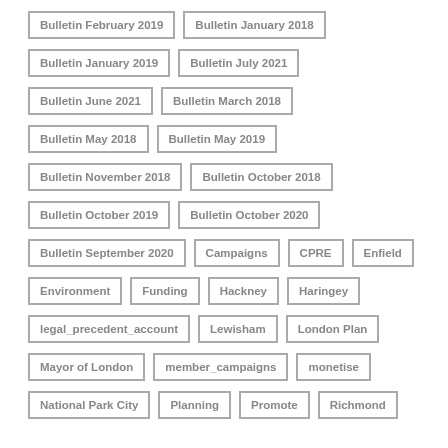Bulletin February 2019
Bulletin January 2018
Bulletin January 2019
Bulletin July 2021
Bulletin June 2021
Bulletin March 2018
Bulletin May 2018
Bulletin May 2019
Bulletin November 2018
Bulletin October 2018
Bulletin October 2019
Bulletin October 2020
Bulletin September 2020
Campaigns
CPRE
Enfield
Environment
Funding
Hackney
Haringey
legal_precedent_account
Lewisham
London Plan
Mayor of London
member_campaigns
monetise
National Park City
Planning
Promote
Richmond